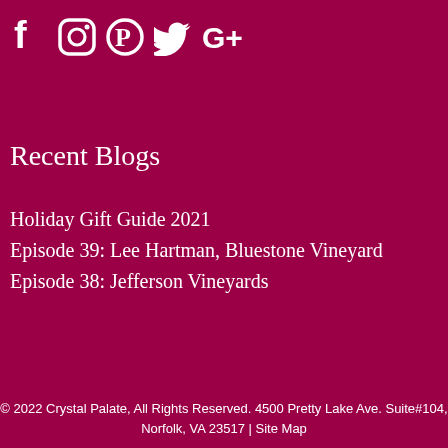[Figure (illustration): Social media icons in white: Facebook, Instagram, Pinterest, Twitter, Google+]
Recent Blogs
Holiday Gift Guide 2021
Episode 39: Lee Hartman, Bluestone Vineyard
Episode 38: Jefferson Vineyards
© 2022 Crystal Palate, All Rights Reserved. 4500 Pretty Lake Ave. Suite#104, Norfolk, VA 23517 | Site Map